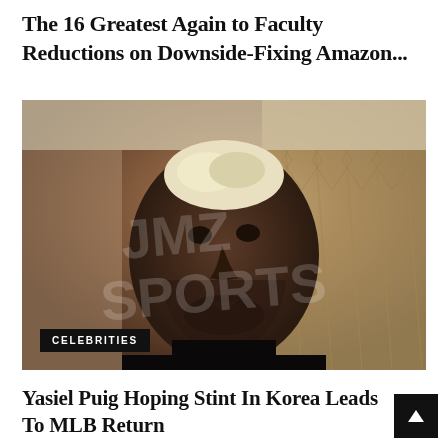The 16 Greatest Again to Faculty Reductions on Downside-Fixing Amazon...
[Figure (photo): Close-up video still of a Black man with bleached/blonde curly hair, wearing a black shirt, speaking to camera. A watermark reading 'JMZ SPORTS' or similar is overlaid. A 'CELEBRITIES' tag appears in the bottom-left corner of the image.]
Yasiel Puig Hoping Stint In Korea Leads To MLB Return